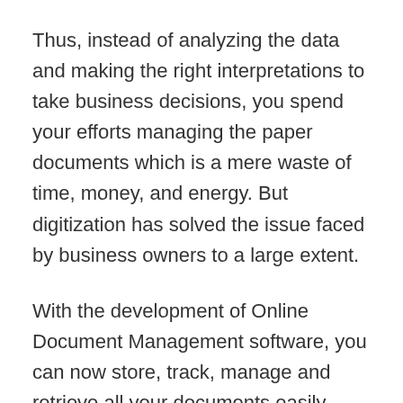Thus, instead of analyzing the data and making the right interpretations to take business decisions, you spend your efforts managing the paper documents which is a mere waste of time, money, and energy. But digitization has solved the issue faced by business owners to a large extent.
With the development of Online Document Management software, you can now store, track, manage and retrieve all your documents easily without much effort and thus focus your concentration on your business and let the